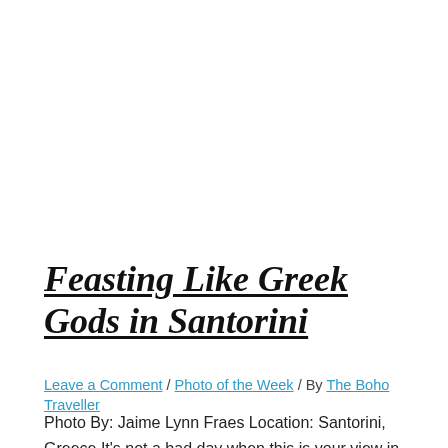Feasting Like Greek Gods in Santorini
Leave a Comment / Photo of the Week / By The Boho Traveller
Photo By: Jaime Lynn Fraes Location: Santorini, Greece It's not a bad day when this is your view in Santorini!  Our group is about halfway through their 10 day excursion and could not be loving it